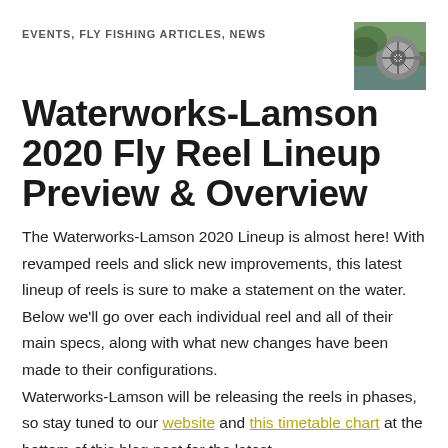EVENTS, FLY FISHING ARTICLES, NEWS
[Figure (photo): Thumbnail photo of a fly fishing reel in a natural outdoor setting]
Waterworks-Lamson 2020 Fly Reel Lineup Preview & Overview
The Waterworks-Lamson 2020 Lineup is almost here! With revamped reels and slick new improvements, this latest lineup of reels is sure to make a statement on the water. Below we'll go over each individual reel and all of their main specs, along with what new changes have been made to their configurations.
Waterworks-Lamson will be releasing the reels in phases, so stay tuned to our website and this timetable chart at the bottom of this blog post for the latest